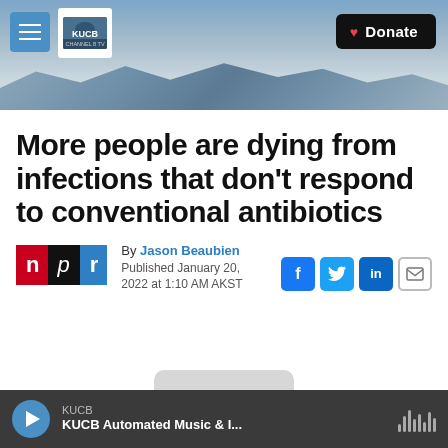[Figure (screenshot): KUCB website header with mountain landscape background, hamburger menu icon, KUCB Channel 8 TV logo, and black Donate button with heart icon]
More people are dying from infections that don't respond to conventional antibiotics
By Jason Beaubien
Published January 20, 2022 at 1:10 AM AKST
[Figure (logo): NPR logo with red N, black p, blue r blocks]
[Figure (infographic): Social share buttons: Facebook (f), Twitter (bird), LinkedIn (in), Email (envelope)]
KUCB
KUCB Automated Music & I...